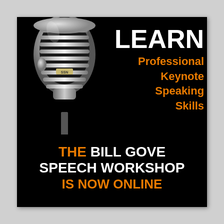[Figure (illustration): Vintage silver/chrome microphone on black background, with SSN label visible, standing on a thin stand]
LEARN
Professional Keynote Speaking Skills
THE BILL GOVE SPEECH WORKSHOP IS NOW ONLINE